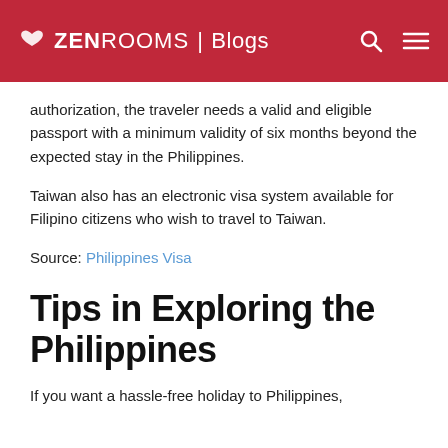ZEN ROOMS | Blogs
authorization, the traveler needs a valid and eligible passport with a minimum validity of six months beyond the expected stay in the Philippines.
Taiwan also has an electronic visa system available for Filipino citizens who wish to travel to Taiwan.
Source: Philippines Visa
Tips in Exploring the Philippines
If you want a hassle-free holiday to Philippines,